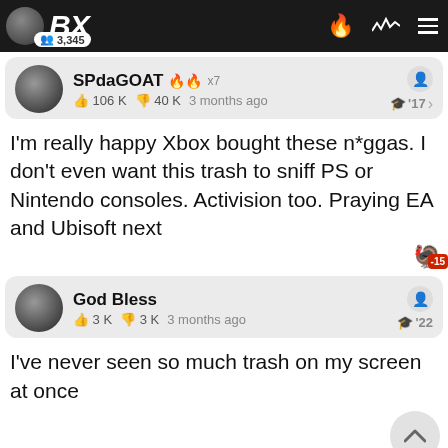BX | 3,345
SPdaGOAT 🔥 x7 | 👍 106 K 👎 40 K | 3 months ago | '17
I'm really happy Xbox bought these n*ggas. I don't even want this trash to sniff PS or Nintendo consoles. Activision too. Praying EA and Ubisoft next
God Bless | 👍 3 K 👎 3 K | 3 months ago | '22
I've never seen so much trash on my screen at once
Prime Dilfer